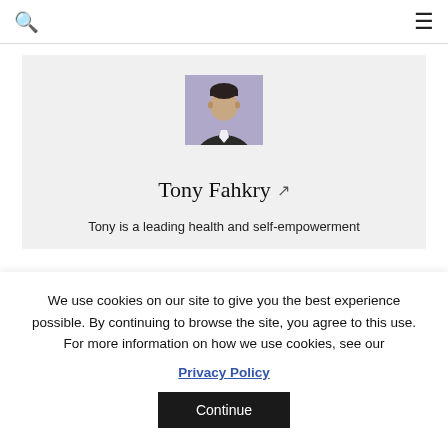🔍  ≡
[Figure (photo): Profile photo of Tony Fahkry — a man in a dark suit jacket, light shirt, with short dark hair, against a purple/lavender background.]
Tony Fahkry ↗
Tony is a leading health and self-empowerment
We use cookies on our site to give you the best experience possible. By continuing to browse the site, you agree to this use. For more information on how we use cookies, see our
Privacy Policy
Continue